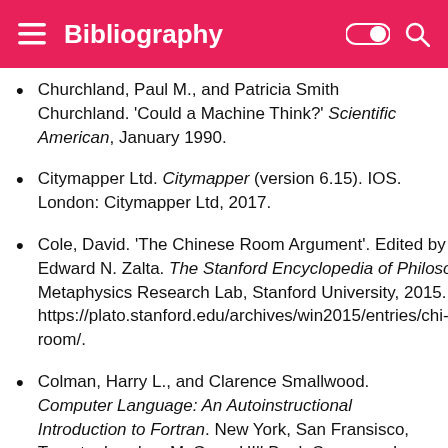Bibliography
Churchland, Paul M., and Patricia Smith Churchland. 'Could a Machine Think?' Scientific American, January 1990.
Citymapper Ltd. Citymapper (version 6.15). IOS. London: Citymapper Ltd, 2017.
Cole, David. 'The Chinese Room Argument'. Edited by Edward N. Zalta. The Stanford Encyclopedia of Philosophy. Metaphysics Research Lab, Stanford University, 2015. https://plato.stanford.edu/archives/win2015/entries/chinese-room/.
Colman, Harry L., and Clarence Smallwood. Computer Language: An Autoinstructional Introduction to Fortran. New York, San Fransisco, Toronto, London: McGraw-HIll Book Company, Inc., 1962.